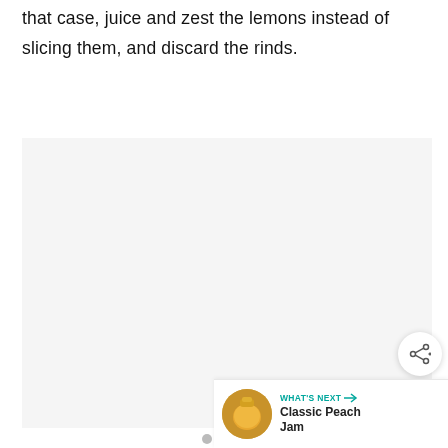that case, juice and zest the lemons instead of slicing them, and discard the rinds.
[Figure (other): Advertisement placeholder box with three loading dots in the center, light gray background]
[Figure (other): Share button — circular white button with share/plus icon, bottom right corner]
[Figure (other): What's Next bar — shows thumbnail of peach jam jars and text 'WHAT'S NEXT → Classic Peach Jam']